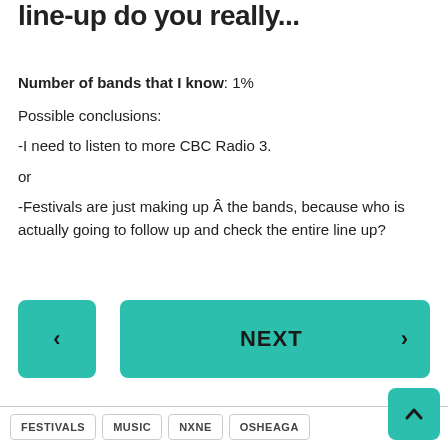...music festival: how much of the line-up do you really...
Number of bands that I know: 1%

Possible conclusions:

-I need to listen to more CBC Radio 3.

or

-Festivals are just making up Â the bands, because who is actually going to follow up and check the entire line up?
[Figure (other): Navigation buttons: back arrow button (teal, square) on left, NEXT button with right arrow (teal, wide rectangle) on right]
[Figure (other): Scroll-to-top button (teal, square with up arrow) in bottom right corner]
FESTIVALS  MUSIC  NXNE  OSHEAGA